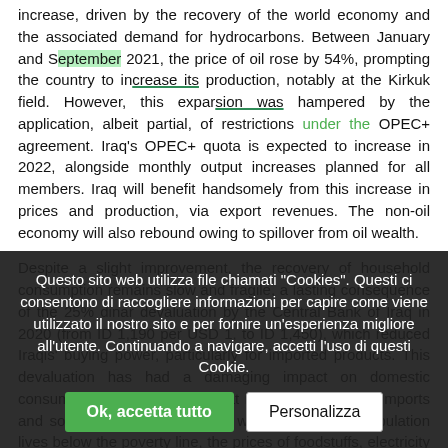increase, driven by the recovery of the world economy and the associated demand for hydrocarbons. Between January and September 2021, the price of oil rose by 54%, prompting the country to increase its production, notably at the Kirkuk field. However, this expansion was hampered by the application, albeit partial, of restrictions under the OPEC+ agreement. Iraq's OPEC+ quota is expected to increase in 2022, alongside monthly output increases planned for all members. Iraq will benefit handsomely from this increase in prices and production, via export revenues. The non-oil economy will also rebound owing to spillover from oil wealth.
Despite a slight improvement, the recovery of household consumption remains slow and fragile, a lasting consequence of the 25% dinar devaluation by the Central Bank of Iraq in 2020 (from ID 1,190 per USD 1, to ID 1,450), which reduced Iraqis' buying power, particularly for imported products. This devaluation has had a damaging impact on domestic consumption in an economy that is so dependent on imports and so under-diversified. Thus, while 25% of the population lives below the poverty line, the prices of foodstuffs, electricity (unreliable supply) and water have all increased, feeding severe inflationary pressures.
Investment will be driven by international projects, as illustrated by the USD 27 billion contract signed by the Total Group with Iraq, consisting
Questo sito web utilizza file chiamati "Cookies". Questi ci consentono di raccogliere informazioni per capire come viene utilizzato il nostro sito e per fornire un'esperienza migliore all'utente. Continuando a navigare, accetti l'uso di questi Cookie.